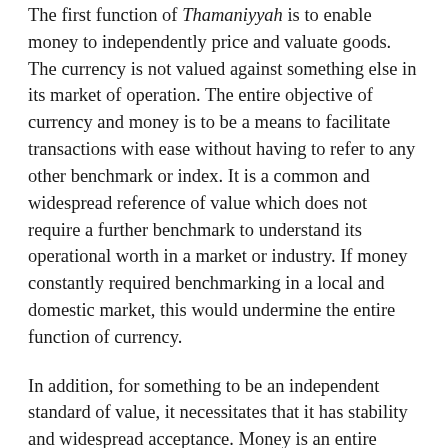The first function of Thamaniyyah is to enable money to independently price and valuate goods. The currency is not valued against something else in its market of operation. The entire objective of currency and money is to be a means to facilitate transactions with ease without having to refer to any other benchmark or index. It is a common and widespread reference of value which does not require a further benchmark to understand its operational worth in a market or industry. If money constantly required benchmarking in a local and domestic market, this would undermine the entire function of currency.
In addition, for something to be an independent standard of value, it necessitates that it has stability and widespread acceptance. Money is an entire system and Intizām. The system of money has been established to bring stability in our worldly life and to be of benefit to man. It is a standard and measure for value. Hence, in ancient times, money was weighed in a scale, reflecting the very essence of money – a